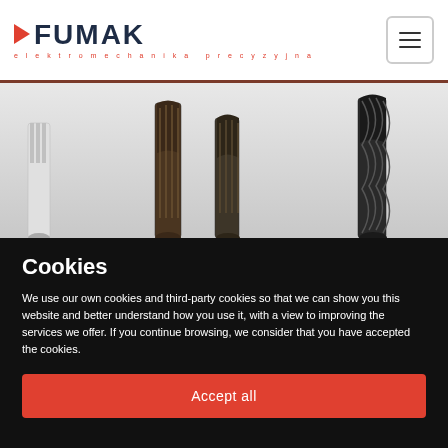[Figure (logo): FUMAK logo with red arrow triangle and tagline 'elektromechanika precyzyjna' in red letters]
[Figure (photo): Milling tool bits / end mills photographed on a light background]
Cookies
We use our own cookies and third-party cookies so that we can show you this website and better understand how you use it, with a view to improving the services we offer. If you continue browsing, we consider that you have accepted the cookies.
Accept all